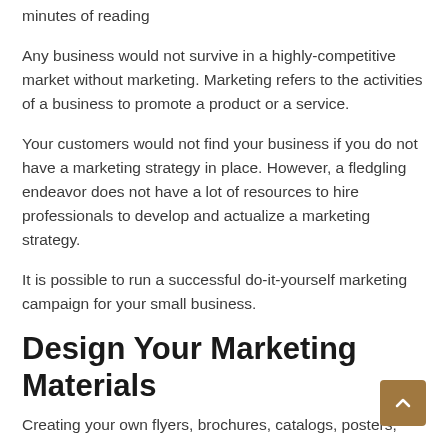minutes of reading
Any business would not survive in a highly-competitive market without marketing. Marketing refers to the activities of a business to promote a product or a service.
Your customers would not find your business if you do not have a marketing strategy in place. However, a fledgling endeavor does not have a lot of resources to hire professionals to develop and actualize a marketing strategy.
It is possible to run a successful do-it-yourself marketing campaign for your small business.
Design Your Marketing Materials
Creating your own flyers, brochures, catalogs, posters,